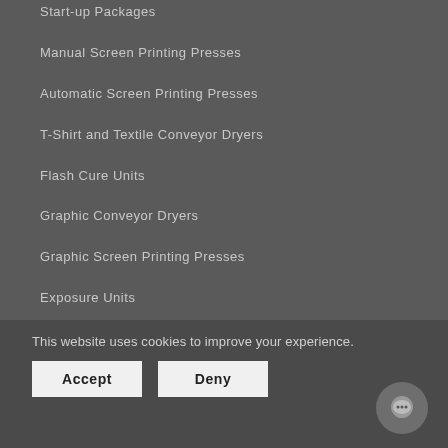Start-up Packages
Manual Screen Printing Presses
Automatic Screen Printing Presses
T-Shirt and Textile Conveyor Dryers
Flash Cure Units
Graphic Conveyor Dryers
Graphic Screen Printing Presses
Exposure Units
This website uses cookies to improve your experience.
Accept
Deny